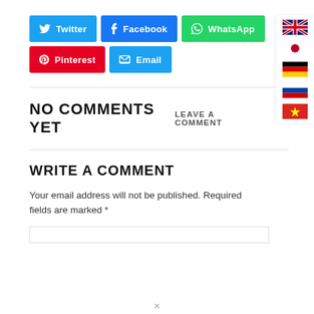[Figure (screenshot): Social share buttons: Twitter, Facebook, WhatsApp, Pinterest, Email]
NO COMMENTS YET
LEAVE A COMMENT
WRITE A COMMENT
Your email address will not be published. Required fields are marked *
[Figure (screenshot): Language flags panel: UK, Japan, Germany, Russia, Vietnam]